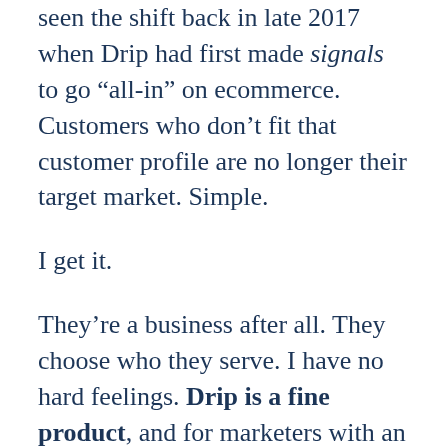seen the shift back in late 2017 when Drip had first made signals to go “all-in” on ecommerce. Customers who don’t fit that customer profile are no longer their target market. Simple.
I get it.
They’re a business after all. They choose who they serve. I have no hard feelings. Drip is a fine product, and for marketers with an ecommerce business, Drip is perfect.